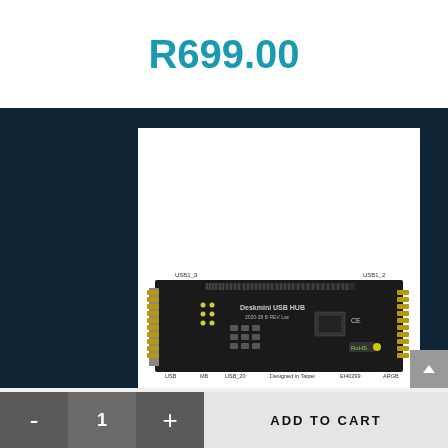R699.00
[Figure (photo): Circuit board / USB hub module labeled 'Deskmini USB HUB' with gold pin headers on both sides, labeled connectors including USB1_3, USB1_2, USB, MB, USB_20, ARGB. Text reads 'Designed in Taipei EI40299'. Compliance marks: CE, FC, RoHS.]
Hubs and Docking Stations, Accessories, Adapters
- 1 + ADD TO CART